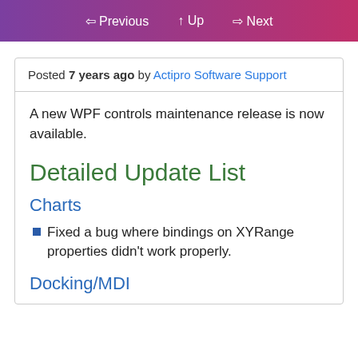⇦ Previous  ↑ Up  ⇨ Next
Posted 7 years ago by Actipro Software Support
A new WPF controls maintenance release is now available.
Detailed Update List
Charts
Fixed a bug where bindings on XYRange properties didn't work properly.
Docking/MDI